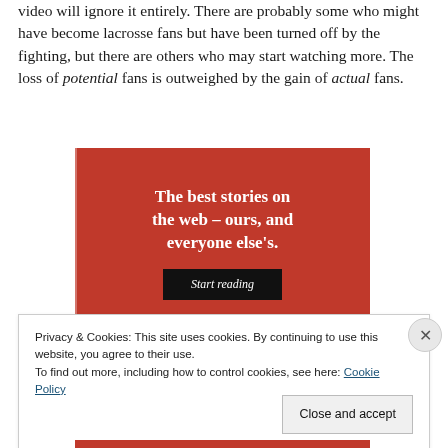video will ignore it entirely. There are probably some who might have become lacrosse fans but have been turned off by the fighting, but there are others who may start watching more. The loss of potential fans is outweighed by the gain of actual fans.
[Figure (illustration): Red advertisement banner with white serif text reading 'The best stories on the web – ours, and everyone else's.' with a black 'Start reading' button]
Privacy & Cookies: This site uses cookies. By continuing to use this website, you agree to their use.
To find out more, including how to control cookies, see here: Cookie Policy
Close and accept